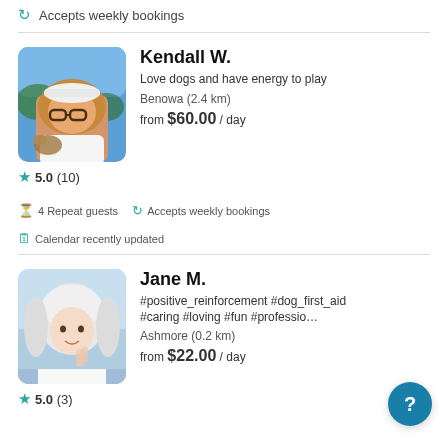Accepts weekly bookings
Kendall W.
Love dogs and have energy to play
Benowa (2.4 km)
from $60.00 / day
5.0 (10)
4 Repeat guests
Accepts weekly bookings
Calendar recently updated
Jane M.
#positive_reinforcement #dog_first_aid #caring #loving #fun #professio…
Ashmore (0.2 km)
from $22.00 / day
5.0 (3)